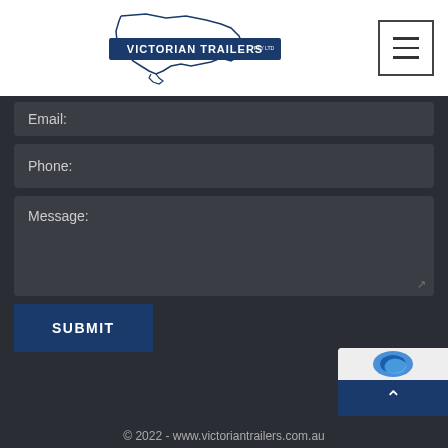[Figure (logo): Victorian Trailers Pty Ltd logo with outline of Victoria state map and blue banner]
[Figure (other): Hamburger menu button (three horizontal lines in a square border)]
Email:
Phone:
Message:
SUBMIT
© 2022 - www.victoriantrailers.com.au